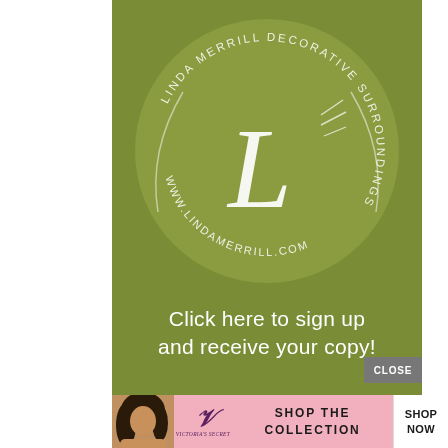[Figure (logo): Linda Merrill Decorative Surroundings circular logo on olive-green background with cursive 'L' monogram and website www.lindamerrill.com around the circle]
Click here to sign up and receive your copy!
[Figure (advertisement): Victoria's Secret advertisement banner with woman photo, VS logo, 'SHOP THE COLLECTION' text, and 'SHOP NOW' button]